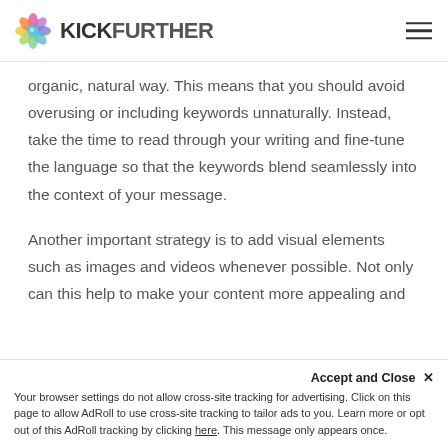KICKFURTHER
organic, natural way. This means that you should avoid overusing or including keywords unnaturally. Instead, take the time to read through your writing and fine-tune the language so that the keywords blend seamlessly into the context of your message.
Another important strategy is to add visual elements such as images and videos whenever possible. Not only can this help to make your content more appealing and
Accept and Close ✕
Your browser settings do not allow cross-site tracking for advertising. Click on this page to allow AdRoll to use cross-site tracking to tailor ads to you. Learn more or opt out of this AdRoll tracking by clicking here. This message only appears once.